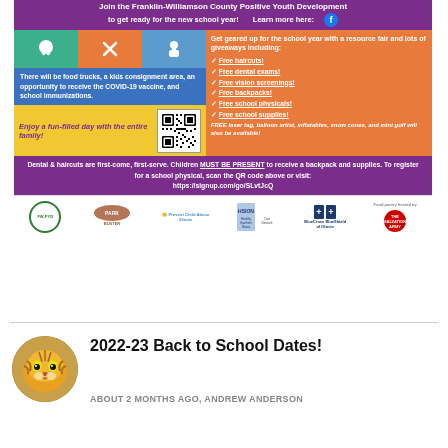[Figure (infographic): Franklin-Williamson County Positive Youth Development back-to-school event flyer with purple header, orange/blue/yellow sections listing free services (haircuts, dental exams, vision screenings, backpacks, school physicals, school supplies), QR code, and partner logos at bottom including FW-PYD, Prevent Child Abuse Illinois, HSION, BlueCross BlueShield of Illinois, and The Salvation Army.]
[Figure (photo): Circular avatar photo of a tiger face, used as profile image for Andrew Anderson post.]
2022-23 Back to School Dates!
ABOUT 2 MONTHS AGO, ANDREW ANDERSON